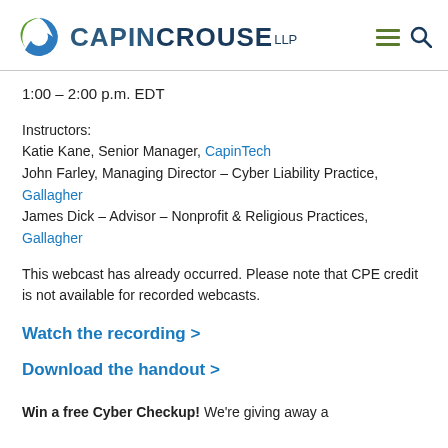[Figure (logo): CapinCrouse LLP logo with circular blue/green icon and navigation hamburger menu and search icon]
1:00 – 2:00 p.m. EDT
Instructors:
Katie Kane, Senior Manager, CapinTech
John Farley, Managing Director – Cyber Liability Practice, Gallagher
James Dick – Advisor – Nonprofit & Religious Practices, Gallagher
This webcast has already occurred. Please note that CPE credit is not available for recorded webcasts.
Watch the recording >
Download the handout >
Win a free Cyber Checkup! We're giving away a